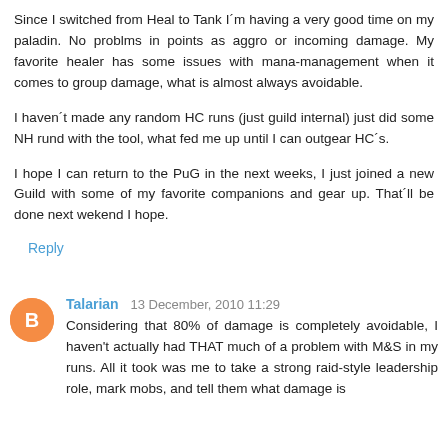Since I switched from Heal to Tank I´m having a very good time on my paladin. No problms in points as aggro or incoming damage. My favorite healer has some issues with mana-management when it comes to group damage, what is almost always avoidable.
I haven´t made any random HC runs (just guild internal) just did some NH rund with the tool, what fed me up until I can outgear HC´s.
I hope I can return to the PuG in the next weeks, I just joined a new Guild with some of my favorite companions and gear up. That´ll be done next wekend I hope.
Reply
Talarian  13 December, 2010 11:29
Considering that 80% of damage is completely avoidable, I haven't actually had THAT much of a problem with M&S in my runs. All it took was me to take a strong raid-style leadership role, mark mobs, and tell them what damage is